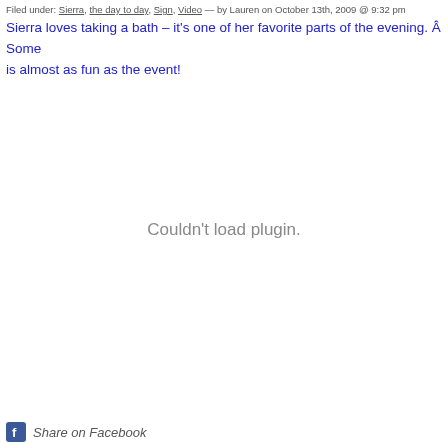Filed under: Sierra, the day to day, Sign, Video — by Lauren on October 13th, 2009 @ 9:32 pm
Sierra loves taking a bath – it's one of her favorite parts of the evening. Â Some is almost as fun as the event!
[Figure (other): Couldn't load plugin. — embedded video plugin placeholder area]
Share on Facebook